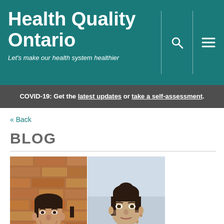Health Quality Ontario
Let's make our health system healthier
COVID-19: Get the latest updates or take a self-assessment.
« Back
BLOG
[Figure (photo): Two headshots side by side: a smiling man in a suit jacket against a brick wall background on the left, and a woman with her hair up in a professional setting on the right.]